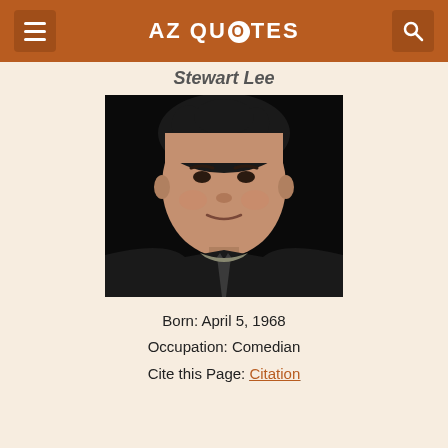AZ QUOTES
Stewart Lee
[Figure (photo): Portrait photo of Stewart Lee, a middle-aged man with dark messy hair wearing a dark jacket and tie, looking directly at the camera against a dark background]
Born: April 5, 1968
Occupation: Comedian
Cite this Page: Citation